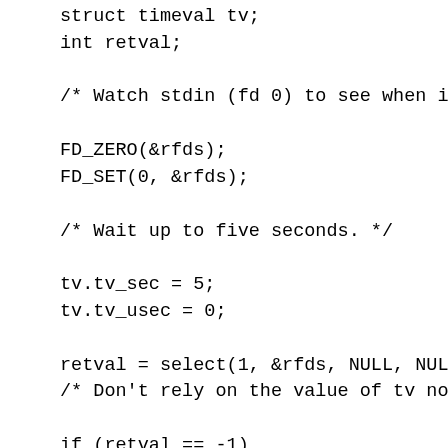struct timeval tv;
int retval;

/* Watch stdin (fd 0) to see when i

FD_ZERO(&rfds);
FD_SET(0, &rfds);

/* Wait up to five seconds. */

tv.tv_sec = 5;
tv.tv_usec = 0;

retval = select(1, &rfds, NULL, NUL
/* Don't rely on the value of tv no

if (retval == -1)
     perror("select()");
else if (retval)
     printf("Data is available now.\
     /* FD_ISSET(0, &rfds) will be t
else
     printf("No data within five sec

exit(EXIT_SUCCESS);